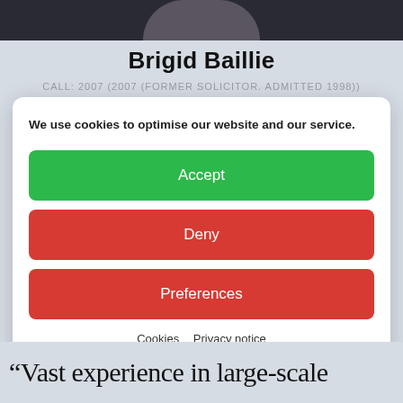[Figure (photo): Partial photo of Brigid Baillie at top of page, cropped showing only the top of the head/shoulders area]
Brigid Baillie
CALL: 2007 (2007 (FORMER SOLICITOR. ADMITTED 1998))
We use cookies to optimise our website and our service.
Accept
Deny
Preferences
Cookies   Privacy notice
“Vast experience in large-scale